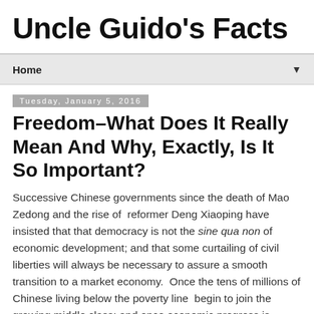Uncle Guido's Facts
Home
Tuesday, January 5, 2016
Freedom–What Does It Really Mean And Why, Exactly, Is It So Important?
Successive Chinese governments since the death of Mao Zedong and the rise of  reformer Deng Xiaoping have insisted that that democracy is not the sine qua non of economic development; and that some curtailing of civil liberties will always be necessary to assure a smooth transition to a market economy.  Once the tens of millions of Chinese living below the poverty line  begin to join the growing middle class; and once economic progress is universal and not restricted by class or geographic area,